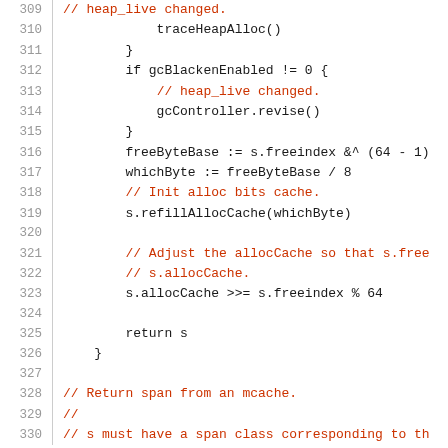[Figure (screenshot): Source code listing showing lines 309-330 of a Go language file related to memory allocation. Lines include traceHeapAlloc(), gcBlackenEnabled check, gcController.revise(), freeByteBase, whichByte, s.refillAllocCache, s.allocCache, return s, closing brace, and comments about returning span from mcache.]